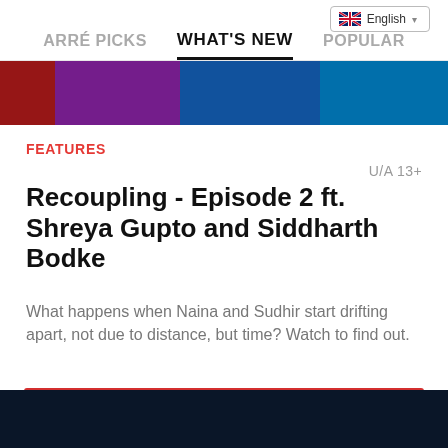Arré PICKS  WHAT'S NEW  POPULAR
[Figure (screenshot): Top banner image strip with colorful background, partially visible]
FEATURES
U/A 13+
Recoupling - Episode 2 ft. Shreya Gupto and Siddharth Bodke
What happens when Naina and Sudhir start drifting apart, not due to distance, but time? Watch to find out.
[Figure (screenshot): Video thumbnail showing two men facing each other against a colorful illustrated sunset/mountain background with a play button overlay]